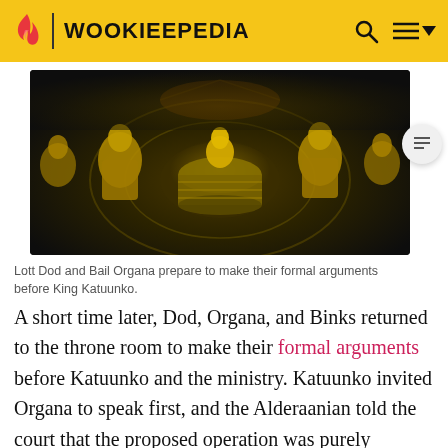WOOKIEEPEDIA
[Figure (photo): Lott Dod and Bail Organa preparing to make their formal arguments before King Katuunko — scene showing alien figures in a throne room setting]
Lott Dod and Bail Organa prepare to make their formal arguments before King Katuunko.
A short time later, Dod, Organa, and Binks returned to the throne room to make their formal arguments before Katuunko and the ministry. Katuunko invited Organa to speak first, and the Alderaanian told the court that the proposed operation was purely humanitarian. Organa then told the king that he had a message for him from the senator of Ryloth, Orn Free Taa. A hologram of Taa played before the court, and Taa told Katuunko of the dire situation his people were in. Once the recording finished,